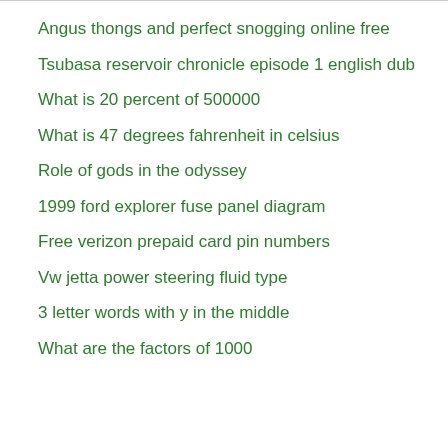Angus thongs and perfect snogging online free
Tsubasa reservoir chronicle episode 1 english dub
What is 20 percent of 500000
What is 47 degrees fahrenheit in celsius
Role of gods in the odyssey
1999 ford explorer fuse panel diagram
Free verizon prepaid card pin numbers
Vw jetta power steering fluid type
3 letter words with y in the middle
What are the factors of 1000